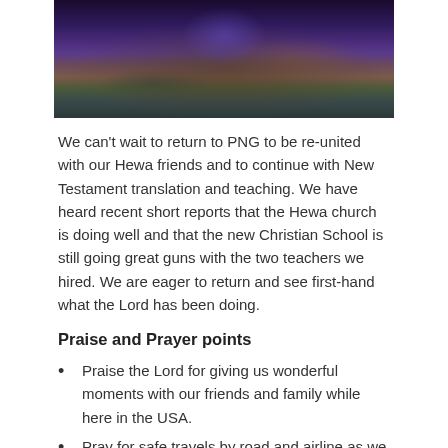[Figure (photo): Blurred nighttime or dusk photo with dark blue, purple, and brown tones, possibly showing a silhouette against a colorful sky]
We can't wait to return to PNG to be re-united with our Hewa friends and to continue with New Testament translation and teaching. We have heard recent short reports that the Hewa church is doing well and that the new Christian School is still going great guns with the two teachers we hired. We are eager to return and see first-hand what the Lord has been doing.
Praise and Prayer points
Praise the Lord for giving us wonderful moments with our friends and family while here in the USA.
Pray for safe travels by road and airline as we